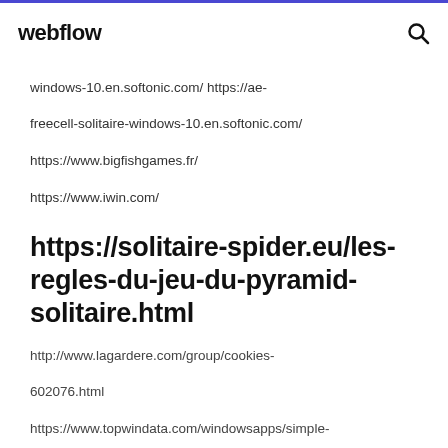webflow
windows-10.en.softonic.com/ https://ae-freecell-solitaire-windows-10.en.softonic.com/
https://www.bigfishgames.fr/
https://www.iwin.com/
https://solitaire-spider.eu/les-regles-du-jeu-du-pyramid-solitaire.html
http://www.lagardere.com/group/cookies-602076.html
https://www.topwindata.com/windowsapps/simple-solitaire-for-hp/332987.html
https://www.topwindata.com/windowsapps/peg-solitaire-10/00000.html